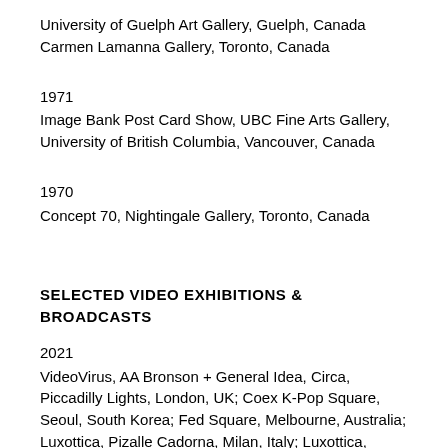University of Guelph Art Gallery, Guelph, Canada
Carmen Lamanna Gallery, Toronto, Canada
1971
Image Bank Post Card Show, UBC Fine Arts Gallery, University of British Columbia, Vancouver, Canada
1970
Concept 70, Nightingale Gallery, Toronto, Canada
SELECTED VIDEO EXHIBITIONS & BROADCASTS
2021
VideoVirus, AA Bronson + General Idea, Circa, Piccadilly Lights, London, UK; Coex K-Pop Square, Seoul, South Korea; Fed Square, Melbourne, Australia; Luxottica, Pizalle Cadorna, Milan, Italy; Luxottica, Times Square, New York, USA; Yunika Vision, Tokyo, Japan
2013
The Universal Addressability of Dumb Things, Nottingham Contemporary, Nottingham, UK
DAAD Artists-in-Berlin Program, Berlin, Germany